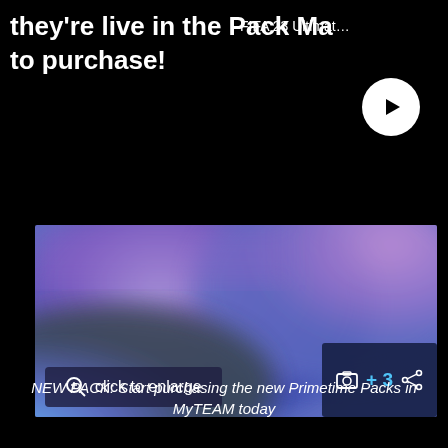they're live in the Pack Ma to purchase!
FIFA 23 Ultimat…
[Figure (photo): Blurred purple and blue gradient image resembling a pack or background, with 'click to enlarge' overlay button and camera/share icons]
NEW PACK: Start purchasing the new Primetime Packs in MyTEAM today